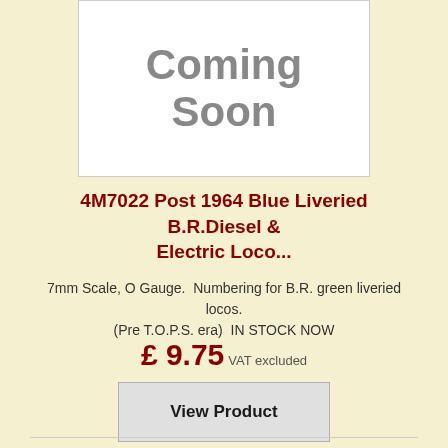[Figure (illustration): White box with 'Coming Soon' text in large grey bold font]
4M7022 Post 1964 Blue Liveried B.R.Diesel & Electric Loco...
7mm Scale, O Gauge.  Numbering for B.R. green liveried locos. (Pre T.O.P.S. era)  IN STOCK NOW
£ 9.75 VAT excluded
View Product
[Figure (illustration): Partial Union Jack flag image at the bottom of the page]